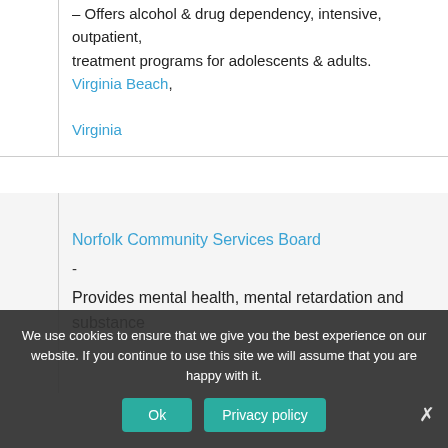– Offers alcohol & drug dependency, intensive, outpatient, treatment programs for adolescents & adults.
Virginia Beach, Virginia
Norfolk Community Services Board
- Provides mental health, mental retardation and substance
We use cookies to ensure that we give you the best experience on our website. If you continue to use this site we will assume that you are happy with it.